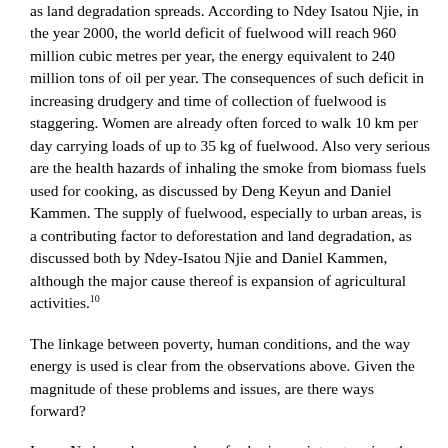as land degradation spreads. According to Ndey Isatou Njie, in the year 2000, the world deficit of fuelwood will reach 960 million cubic metres per year, the energy equivalent to 240 million tons of oil per year. The consequences of such deficit in increasing drudgery and time of collection of fuelwood is staggering. Women are already often forced to walk 10 km per day carrying loads of up to 35 kg of fuelwood. Also very serious are the health hazards of inhaling the smoke from biomass fuels used for cooking, as discussed by Deng Keyun and Daniel Kammen. The supply of fuelwood, especially to urban areas, is a contributing factor to deforestation and land degradation, as discussed both by Ndey-Isatou Njie and Daniel Kammen, although the major cause thereof is expansion of agricultural activities.10
The linkage between poverty, human conditions, and the way energy is used is clear from the observations above. Given the magnitude of these problems and issues, are there ways forward?
Laura Nader makes a number of sobering points, stressing the need for a holistic approach to the